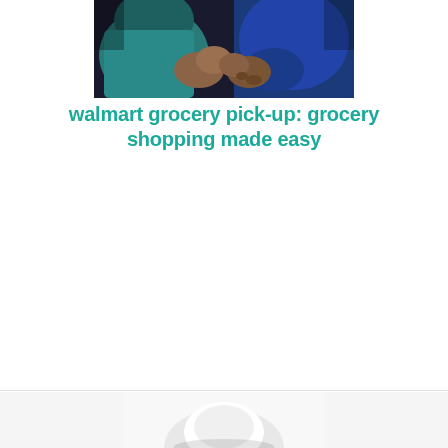[Figure (photo): Close-up photograph showing two people's arms/hands, one wearing a teal/blue sleeve and the other in a blue top, with a dark background.]
walmart grocery pick-up: grocery shopping made easy
[Figure (photo): Partial photograph at the bottom of the page showing a white object, likely a grocery bag or product.]